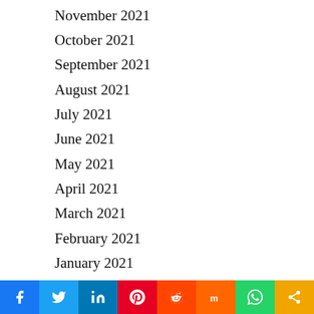November 2021
October 2021
September 2021
August 2021
July 2021
June 2021
May 2021
April 2021
March 2021
February 2021
January 2021
December 2020
November 2020
October 2020
September 2020
August 2020
July 2020
[Figure (infographic): Social sharing bar with icons for Facebook, Twitter, LinkedIn, Pinterest, Reddit, Mix, WhatsApp, and Share]